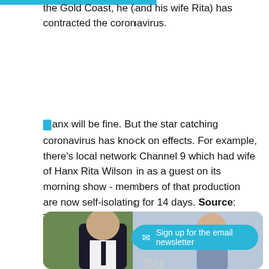the Gold Coast, he (and his wife Rita) has contracted the coronavirus.
Hanx will be fine. But the star catching coronavirus has knock on effects. For example, there's local network Channel 9 which had wife of Hanx Rita Wilson in as a guest on its morning show - members of that production are now self-isolating for 14 days. Source: TV Tonight
[Figure (photo): Photo of Tom Hanks and Rita Wilson at a public event, with a 'Sign up for the email newsletter' button overlay]